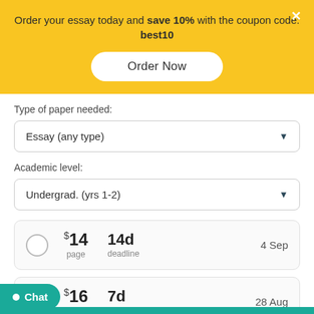Order your essay today and save 10% with the coupon code: best10
Order Now
Type of paper needed:
Essay (any type)
Academic level:
Undergrad. (yrs 1-2)
|  | Price | Deadline | Date |
| --- | --- | --- | --- |
|  | $14 / page | 14d deadline | 4 Sep |
|  | $16 / page | 7d deadline | 28 Aug |
Chat